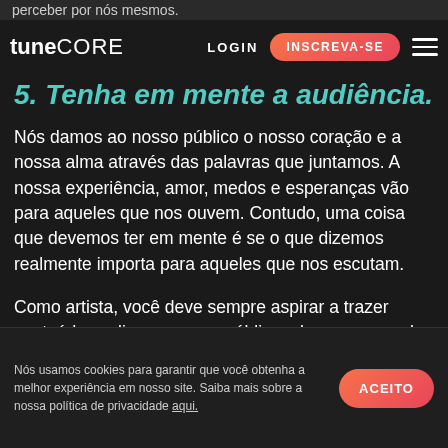perceber por nós mesmos.
tuneCORE  LOGIN  INSCREVA-SE
5. Tenha em mente a audiência.
Nós damos ao nosso público o nosso coração e a nossa alma através das palavras que juntamos. A nossa experiência, amor, medos e esperanças vão para aqueles que nos ouvem. Contudo, uma coisa que devemos ter em mente é se o que dizemos realmente importa para aqueles que nos escutam.
Como artista, você deve sempre aspirar a trazer conteúdos valiosos ao seu público, algo com o qual eles possam se relacionar, aprender e aceitar como próprio. Tente pensar nos seus fãs enquanto cria o seu mais recente sucesso. Tenha em mente a idade deles, sua formação cultural, seus gostos e
Nós usamos cookies para garantir que você obtenha a melhor experiência em nosso site. Saiba mais sobre a nossa política de privacidade aqui.